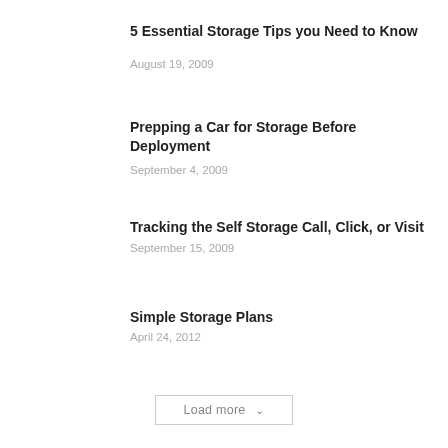5 Essential Storage Tips you Need to Know
August 19, 2009
Prepping a Car for Storage Before Deployment
September 4, 2009
Tracking the Self Storage Call, Click, or Visit
September 15, 2009
Simple Storage Plans
April 24, 2012
Load more